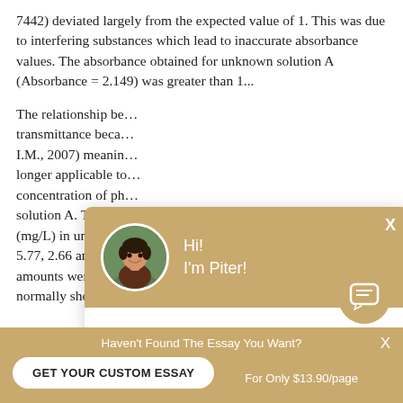7442) deviated largely from the expected value of 1. This was due to interfering substances which lead to inaccurate absorbance values. The absorbance obtained for unknown solution A (Absorbance = 2.149) was greater than 1...
The relationship be... transmittance beca... I.M., 2007) meanin... longer applicable to... concentration of ph... solution A. The con... (mg/L) in unknown... 5.77, 2.66 and 2.02... amounts were foun... normally should be about 0.
[Figure (screenshot): Chat popup overlay with tan/gold header showing a circular avatar photo of a young man, greeting text 'Hi! I'm Piter!', a close X button, and body text asking 'Would you like to get a custom essay? How about receiving a customized one?' with a 'Check it out' link.]
Haven't Found The Essay You Want?
GET YOUR CUSTOM ESSAY
For Only $13.90/page